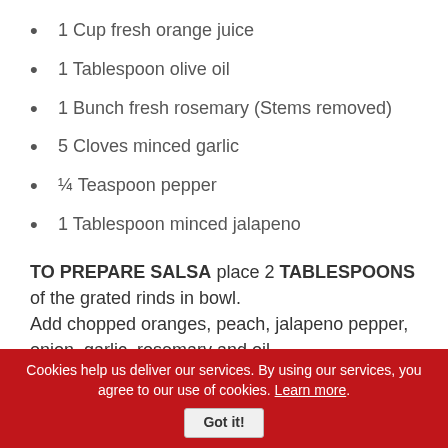1 Cup fresh orange juice
1 Tablespoon olive oil
1 Bunch fresh rosemary (Stems removed)
5 Cloves minced garlic
¼ Teaspoon pepper
1 Tablespoon minced jalapeno
TO PREPARE SALSA place 2 TABLESPOONS of the grated rinds in bowl. Add chopped oranges, peach, jalapeno pepper, onion, garlic, rosemary and oil.
Cookies help us deliver our services. By using our services, you agree to our use of cookies. Learn more. Got it!